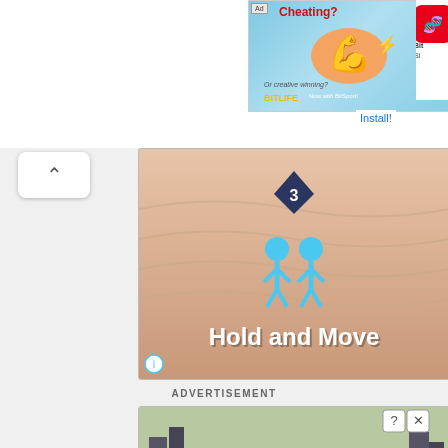[Figure (screenshot): Advertisement banner for BitLife app showing 'Cheating? Or creative winning?' with muscular arm emoji and BitLife logo on blue background]
Bit
Si
Install!
[Figure (screenshot): Game advertisement showing 'Hold and Move' with blue cartoon figures on sandy/beige textured background, number 3 badge above figures]
ADVERTISEMENT
[Figure (screenshot): Math game advertisement showing a road/runner game with math operators: +6, -5, x4, +35, /3, -10, +20, x3. Number 4 badge visible at bottom. Winter forest background with red and blue game pieces.]